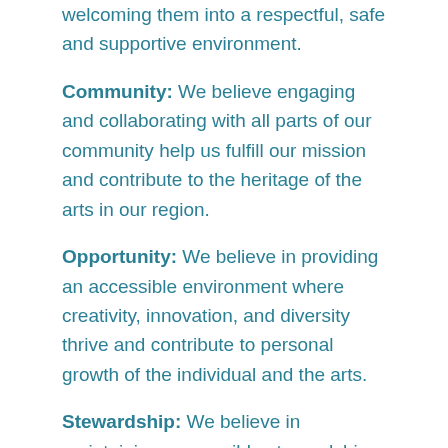welcoming them into a respectful, safe and supportive environment.
Community: We believe engaging and collaborating with all parts of our community help us fulfill our mission and contribute to the heritage of the arts in our region.
Opportunity: We believe in providing an accessible environment where creativity, innovation, and diversity thrive and contribute to personal growth of the individual and the arts.
Stewardship: We believe in maintaining responsible stewardship and prudent financial management to ensure our continued viability, future growth, and long-term sustainability.